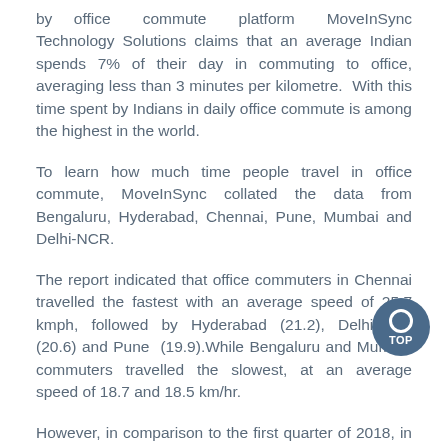by office commute platform MoveInSync Technology Solutions claims that an average Indian spends 7% of their day in commuting to office, averaging less than 3 minutes per kilometre. With this time spent by Indians in daily office commute is among the highest in the world.
To learn how much time people travel in office commute, MoveInSync collated the data from Bengaluru, Hyderabad, Chennai, Pune, Mumbai and Delhi-NCR.
The report indicated that office commuters in Chennai travelled the fastest with an average speed of 25.7 kmph, followed by Hyderabad (21.2), Delhi-NCR (20.6) and Pune (19.9).While Bengaluru and Mumbai commuters travelled the slowest, at an average speed of 18.7 and 18.5 km/hr.
However, in comparison to the first quarter of 2018, in Q1 of 2019, the study revealed that Bengaluru, Delhi-